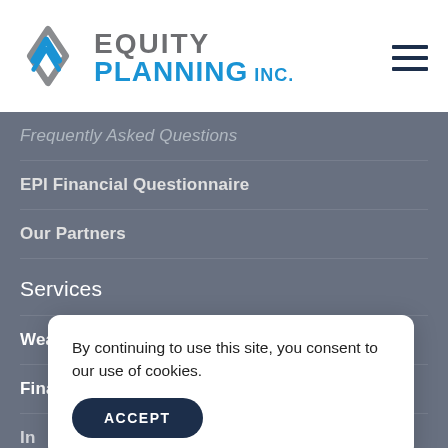[Figure (logo): Equity Planning Inc. logo with diamond/arrow geometric shape in blue and gray, company name in gray (EQUITY) and blue (PLANNING INC.)]
Frequently Asked Questions
EPI Financial Questionnaire
Our Partners
Services
Wealth Management
Financial Planning
In
Re
Es
By continuing to use this site, you consent to our use of cookies.
ACCEPT